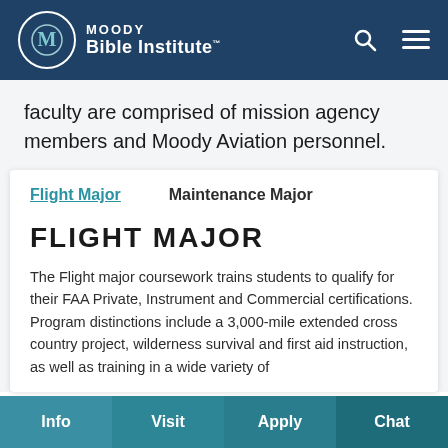MOODY Bible Institute
faculty are comprised of mission agency members and Moody Aviation personnel.
Flight Major | Maintenance Major
FLIGHT MAJOR
The Flight major coursework trains students to qualify for their FAA Private, Instrument and Commercial certifications.  Program distinctions include a 3,000-mile extended cross country project, wilderness survival and first aid instruction, as well as training in a wide variety of
Info | Visit | Apply | Chat